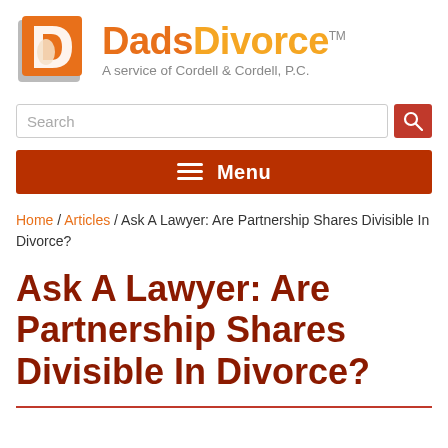[Figure (logo): DadsDivorce logo with orange D icon and text 'DadsDivorce TM — A service of Cordell & Cordell, P.C.']
Search
Menu
Home / Articles / Ask A Lawyer: Are Partnership Shares Divisible In Divorce?
Ask A Lawyer: Are Partnership Shares Divisible In Divorce?